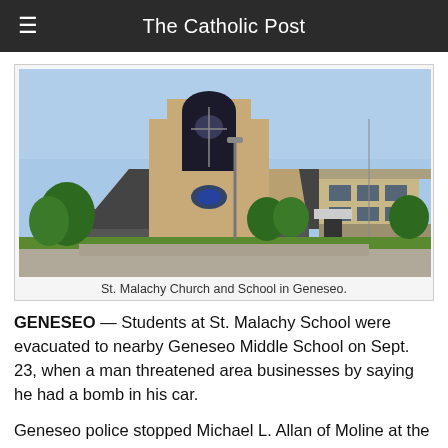The Catholic Post
[Figure (photo): Exterior photo of St. Malachy Church and School in Geneseo, showing a brick church building with a distinctive tall arched tower and a connected school building to the right, with trees and a parking lot in front.]
St. Malachy Church and School in Geneseo.
GENESEO — Students at St. Malachy School were evacuated to nearby Geneseo Middle School on Sept. 23, when a man threatened area businesses by saying he had a bomb in his car.
Geneseo police stopped Michael L. Allan of Moline at the intersection of Carbon Avenue and Chicago Street, which...